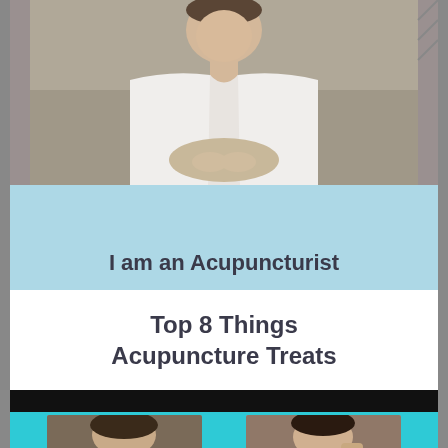[Figure (photo): Person wearing a white bathrobe, upper body visible, seated against a gray/beige background]
I am an Acupuncturist
Top 8 Things Acupuncture Treats
[Figure (photo): Two portrait photos of people against a teal/cyan background, on a black strip]
[Figure (photo): Left portrait: person with dark hair; Right portrait: person with hand near face]